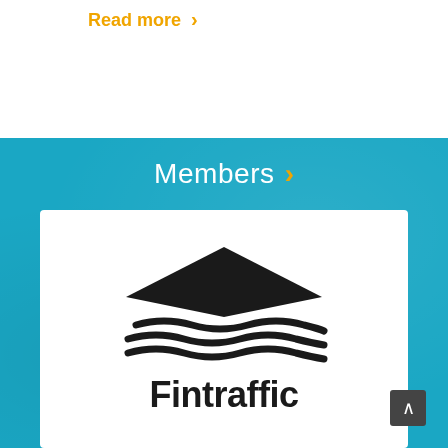Read more ›
Members ›
[Figure (logo): Fintraffic company logo: stacked diamond/wave shapes in black above the word 'Fintraffic' in bold black sans-serif text, on a white card background within a teal/blue section.]